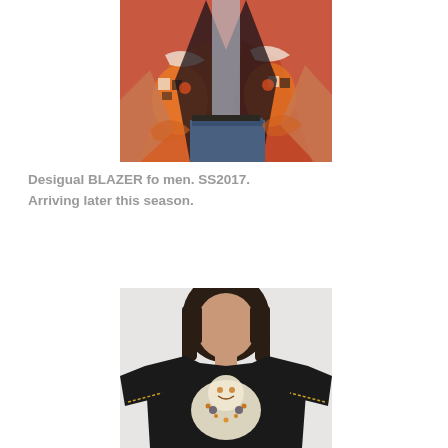[Figure (photo): Man wearing a colorful patterned blazer with bold red, orange, black and white African/tribal print design, paired with jeans, against a coral/salmon colored background. Only the torso and lower body are visible, cropped at the head.]
Desigual BLAZER fo men. SS2017. Arriving later this season.
[Figure (photo): Young man with medium-length brown hair wearing a black t-shirt with a decorative animal (bear/leopard) graphic print in orange, white and dark colors, against a light gray/white background. Cropped at mid-torso showing head and upper body.]